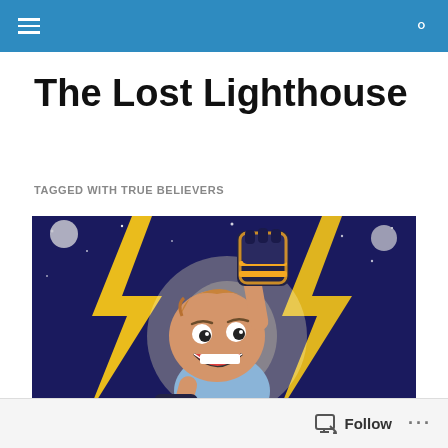The Lost Lighthouse — navigation bar
The Lost Lighthouse
TAGGED WITH TRUE BELIEVERS
[Figure (illustration): Comic book style illustration of a cartoon boy with brown hair holding up a glowing black gauntlet fist, surrounded by yellow lightning bolts on a dark blue starry background.]
Follow